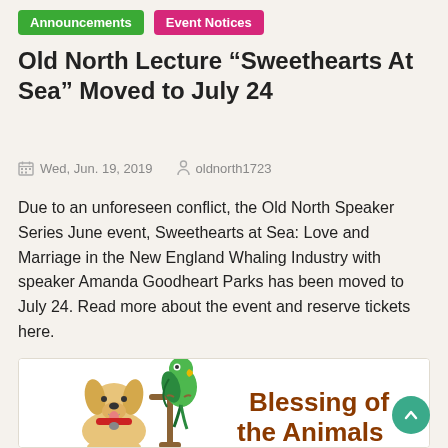Announcements  Event Notices
Old North Lecture “Sweethearts At Sea” Moved to July 24
Wed, Jun. 19, 2019    oldnorth1723
Due to an unforeseen conflict, the Old North Speaker Series June event, Sweethearts at Sea: Love and Marriage in the New England Whaling Industry with speaker Amanda Goodheart Parks has been moved to July 24. Read more about the event and reserve tickets here.
[Figure (illustration): Illustration of a yellow dog with a red collar sitting next to a green parrot on a perch, with text 'Blessing of the Animals' in brown lettering]